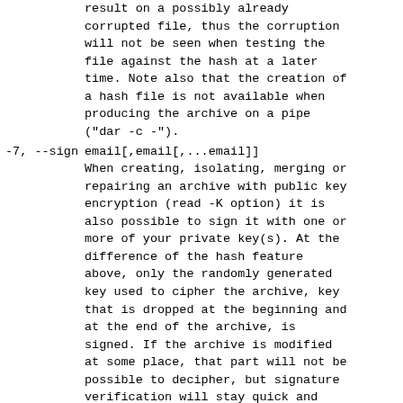result on a possibly already corrupted file, thus the corruption will not be seen when testing the file against the hash at a later time. Note also that the creation of a hash file is not available when producing the archive on a pipe ("dar -c -").
-7, --sign email[,email[,...email]]
When creating, isolating, merging or repairing an archive with public key encryption (read -K option) it is also possible to sign it with one or more of your private key(s). At the difference of the hash feature above, only the randomly generated key used to cipher the archive, key that is dropped at the beginning and at the end of the archive, is signed. If the archive is modified at some place, that part will not be possible to decipher, but signature verification will stay quick and